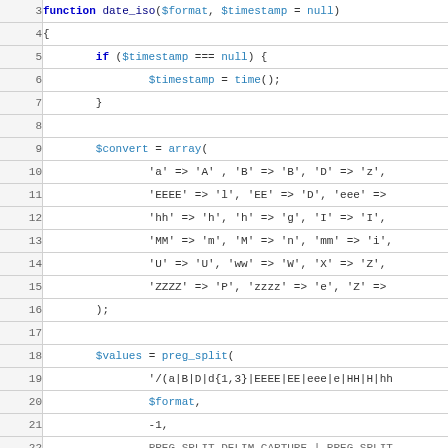[Figure (screenshot): PHP source code listing showing function date_iso with line numbers 3-22, featuring syntax highlighting with blue keywords, red variables, and dark text for operators and strings.]